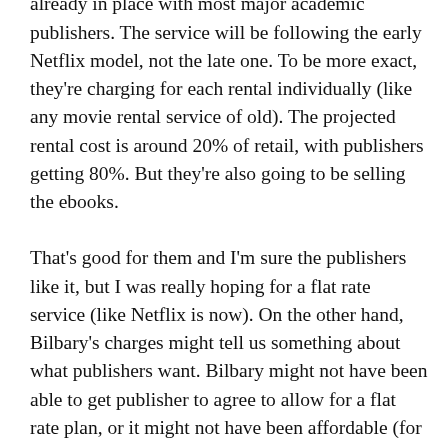publishers, and it's reportedly has agreements already in place with most major academic publishers. The service will be following the early Netflix model, not the late one. To be more exact, they're charging for each rental individually (like any movie rental service of old). The projected rental cost is around 20% of retail, with publishers getting 80%. But they're also going to be selling the ebooks.
That's good for them and I'm sure the publishers like it, but I was really hoping for a flat rate service (like Netflix is now). On the other hand, Bilbary's charges might tell us something about what publishers want. Bilbary might not have been able to get publisher to agree to allow for a flat rate plan, or it might not have been affordable (for Bilbary).
Format support includes Epub and PDF, and availability will depend on what the publishers provide. The loan period will be 20 days. You'll be able to read online or download the ebooks